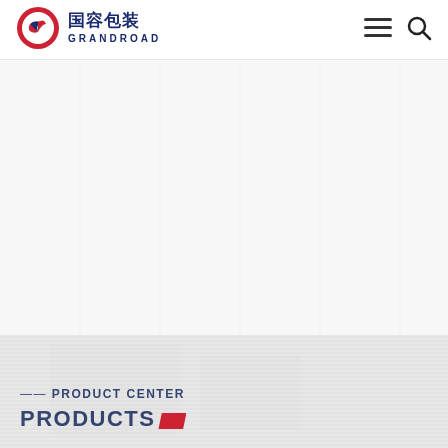[Figure (logo): Grandroad (国容包装) company logo with red circle emblem and Chinese/English text]
[Figure (other): Hamburger menu icon (three horizontal lines) for navigation]
[Figure (other): Search (magnifying glass) icon]
[Figure (other): Large background hero image area - light gray/white textured background, mostly empty]
—— PRODUCT CENTER
PRODUCTS